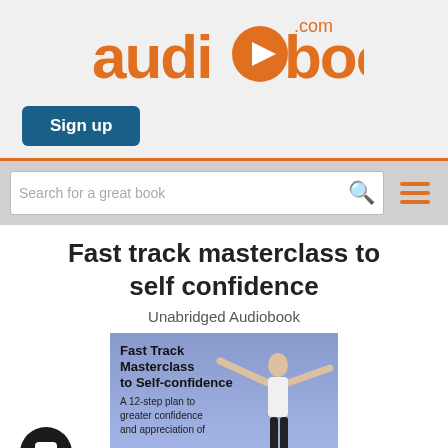[Figure (logo): audiobooks.com logo in orange with a play button icon inside the 'o']
Sign up
[Figure (screenshot): Search bar with placeholder text 'Search for a great book', a magnifying glass icon, and a hamburger menu icon in orange]
Fast track masterclass to self confidence
Unabridged Audiobook
[Figure (photo): Book cover for 'Fast Track Masterclass to Self-confidence' showing a woman with arms spread wide against a blue sky background. Text reads: 'Fast Track Masterclass to Self-confidence' and 'A 12-step plan to greater confidence and appreciation of...']